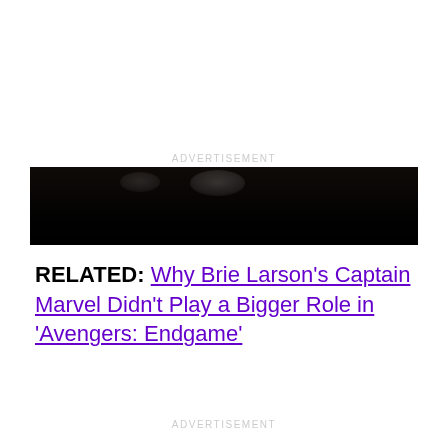ADVERTISEMENT
[Figure (photo): Dark, mostly black image showing faint silhouettes of figures at the top, appearing to be a movie/entertainment scene]
RELATED: Why Brie Larson's Captain Marvel Didn't Play a Bigger Role in 'Avengers: Endgame'
ADVERTISEMENT